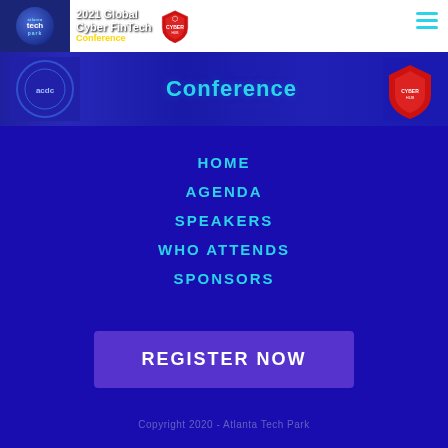[Figure (logo): Atlanta Tech Park logo with 2021 Global Cyber FinTech Conference banner header and CyberHub Summit shield icon]
[Figure (screenshot): Conference banner strip showing 'Conference' text with decorative tech/circuit imagery]
HOME
AGENDA
SPEAKERS
WHO ATTENDS
SPONSORS
REGISTER NOW
Copyright 2020 - Atlanta Tech Park